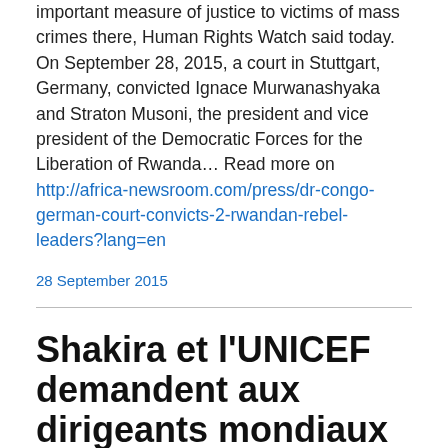important measure of justice to victims of mass crimes there, Human Rights Watch said today. On September 28, 2015, a court in Stuttgart, Germany, convicted Ignace Murwanashyaka and Straton Musoni, the president and vice president of the Democratic Forces for the Liberation of Rwanda… Read more on http://africa-newsroom.com/press/dr-congo-german-court-convicts-2-rwandan-rebel-leaders?lang=en
28 September 2015
Shakira et l'UNICEF demandent aux dirigeants mondiaux de se joindre à la révolution qui touche la petite